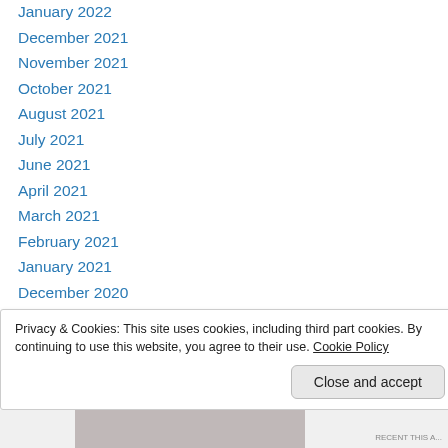January 2022
December 2021
November 2021
October 2021
August 2021
July 2021
June 2021
April 2021
March 2021
February 2021
January 2021
December 2020
November 2020
October 2020
September 2020
Privacy & Cookies: This site uses cookies, including third part cookies. By continuing to use this website, you agree to their use. Cookie Policy
Close and accept